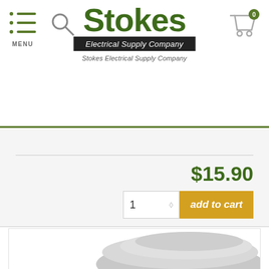[Figure (logo): Stokes Electrical Supply Company logo with menu icon, search icon, and cart icon in header]
$15.90
[Figure (screenshot): Add to cart button with quantity selector showing 1 and orange 'add to cart' button]
[Figure (photo): Partial product photo of an electrical component, metallic silver colored, shown from below]